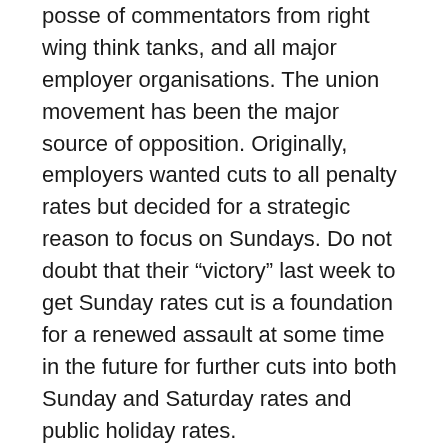posse of commentators from right wing think tanks, and all major employer organisations. The union movement has been the major source of opposition. Originally, employers wanted cuts to all penalty rates but decided for a strategic reason to focus on Sundays. Do not doubt that their “victory” last week to get Sunday rates cut is a foundation for a renewed assault at some time in the future for further cuts into both Sunday and Saturday rates and public holiday rates. While the employers were investing big in their own way to achieve their victory, the workers’ effort – mainly through their unions – was valiant and well-intentioned but puny in comparison. It was entirely defensive, and accepted